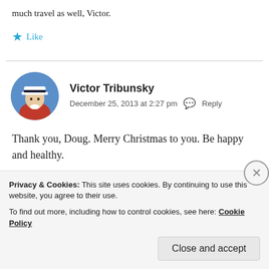much travel as well, Victor.
★ Like
Victor Tribunsky
December 25, 2013 at 2:27 pm  Reply
Thank you, Doug. Merry Christmas to you. Be happy and healthy.
Privacy & Cookies: This site uses cookies. By continuing to use this website, you agree to their use.
To find out more, including how to control cookies, see here: Cookie Policy
Close and accept